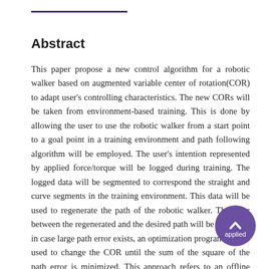Abstract
This paper propose a new control algorithm for a robotic walker based on augmented variable center of rotation(COR) to adapt user's controlling characteristics. The new CORs will be taken from environment-based training. This is done by allowing the user to use the robotic walker from a start point to a goal point in a training environment and path following algorithm will be employed. The user's intention represented by applied force/torque will be logged during training. The logged data will be segmented to correspond the straight and curve segments in the training environment. This data will be used to regenerate the path of the robotic walker. The error between the regenerated and the desired path will be taken and in case large path error exists, an optimization program will be used to change the COR until the sum of the square of the path error is minimized. This approach refers to an offline COR determination. A variable COR controller as a function of applied torque will be designed based on the new CORs. This will be augmented and used in the actual control of the robotic walker